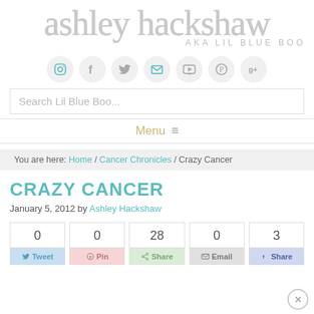ashley hackshaw AKA LIL BLUE BOO
[Figure (infographic): Social media icons row: Instagram, Facebook, Twitter, Email, YouTube, Pinterest, Google+]
Search Lil Blue Boo...
Menu
You are here: Home / Cancer Chronicles / Crazy Cancer
CRAZY CANCER
January 5, 2012 by Ashley Hackshaw
| 0 | 0 | 28 | 0 | 3 |
| --- | --- | --- | --- | --- |
Tweet  Pin  Share  Email  Share